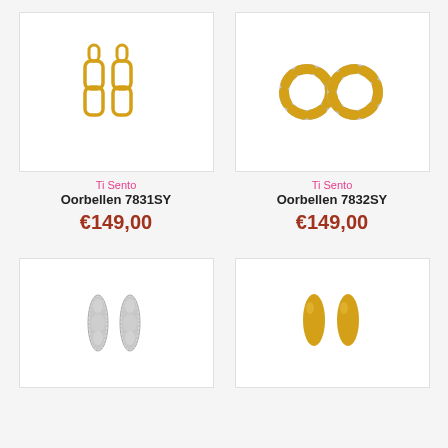[Figure (photo): Gold chain link drop earrings (Ti Sento 7831SY) on white background]
Ti Sento
Oorbellen 7831SY
€149,00
[Figure (photo): Gold braided hoop earrings with silver inner detail (Ti Sento 7832SY) on white background]
Ti Sento
Oorbellen 7832SY
€149,00
[Figure (photo): Silver pavé elongated oval stud earrings on white background]
[Figure (photo): Gold teardrop bullet stud earrings on white background]